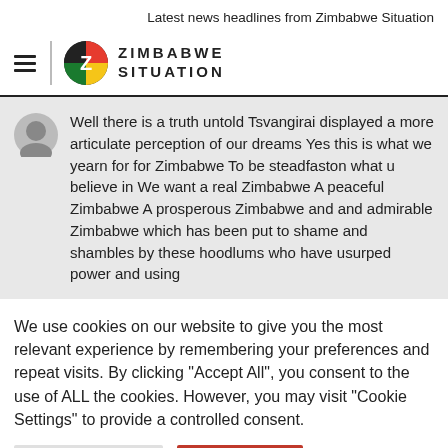Latest news headlines from Zimbabwe Situation
[Figure (logo): Zimbabwe Situation logo with hamburger menu, vertical divider, circular Z logo, and site name ZIMBABWE SITUATION]
Well there is a truth untold Tsvangirai displayed a more articulate perception of our dreams Yes this is what we yearn for for Zimbabwe To be steadfaston what u believe in We want a real Zimbabwe A peaceful Zimbabwe A prosperous Zimbabwe and and admirable Zimbabwe which has been put to shame and shambles by these hoodlums who have usurped power and using
We use cookies on our website to give you the most relevant experience by remembering your preferences and repeat visits. By clicking "Accept All", you consent to the use of ALL the cookies. However, you may visit "Cookie Settings" to provide a controlled consent.
Cookie Settings | Accept All